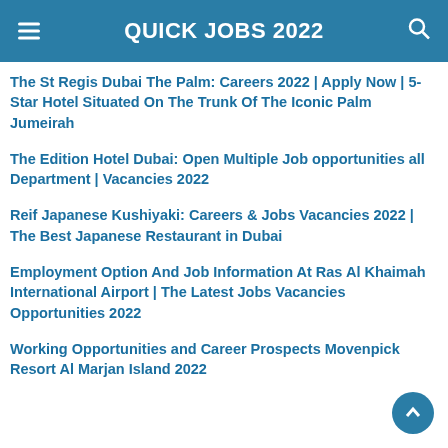QUICK JOBS 2022
The St Regis Dubai The Palm: Careers 2022 | Apply Now | 5-Star Hotel Situated On The Trunk Of The Iconic Palm Jumeirah
The Edition Hotel Dubai: Open Multiple Job opportunities all Department | Vacancies 2022
Reif Japanese Kushiyaki: Careers &amp; Jobs Vacancies 2022 | The Best Japanese Restaurant in Dubai
Employment Option And Job Information At Ras Al Khaimah International Airport | The Latest Jobs Vacancies Opportunities 2022
Working Opportunities and Career Prospects Movenpick Resort Al Marjan Island 2022